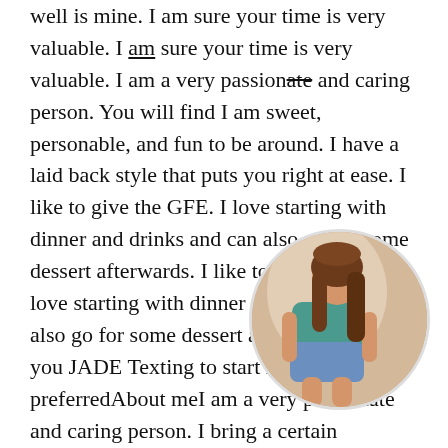well is mine. I am sure your time is very valuable. I am sure your time is very valuable. I am a very passionate and caring person. You will find I am sweet, personable, and fun to be around. I have a laid back style that puts you right at ease. I like to give the GFE. I love starting with dinner and drinks and can also go for some dessert afterwards. I like to give the GFE. I love starting with dinner and drinks and can also go for some dessert afterwards. See you JADE Texting to start is preferredAbout meI am a very passionate and caring person. I bring a certain creativity, confidence and knowing to my encounters that will never be called ordinary. See you JADE Texting to start is preferred I am a very passionate and caring person. I am sweet, personable, and fun to be around. Whether an elegant night out or a sweet afternoon, you will find me fully engaged in our mutual endeavors. I am also the perfect companion for holiday work parties or
[Figure (photo): Circular cropped photo of a woman in a teal top and denim shorts, posed crouching]